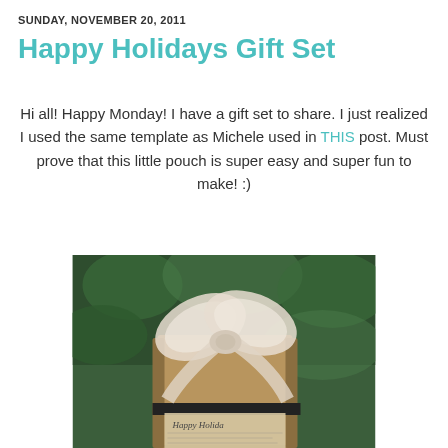SUNDAY, NOVEMBER 20, 2011
Happy Holidays Gift Set
Hi all! Happy Monday! I have a gift set to share. I just realized I used the same template as Michele used in THIS post. Must prove that this little pouch is super easy and super fun to make! :)
[Figure (photo): A kraft paper gift pouch/bag tied with a large sheer cream/white bow ribbon, placed outdoors in front of green foliage. The pouch has 'Happy Holida...' stamped or printed on it.]